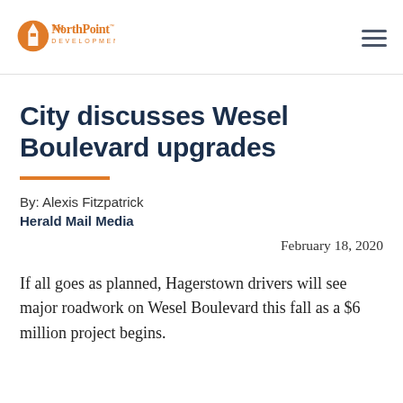[Figure (logo): NorthPoint Development logo with orange circle/building icon and orange text reading 'NorthPoint DEVELOPMENT']
City discusses Wesel Boulevard upgrades
By: Alexis Fitzpatrick
Herald Mail Media
February 18, 2020
If all goes as planned, Hagerstown drivers will see major roadwork on Wesel Boulevard this fall as a $6 million project begins.